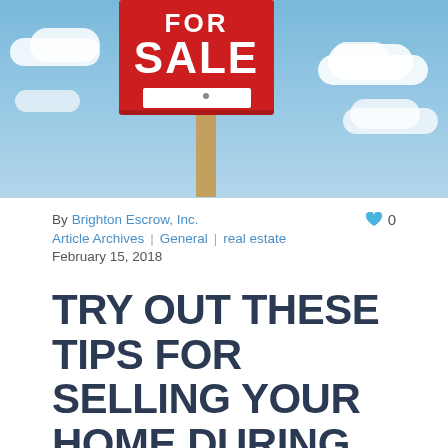[Figure (photo): A 'FOR SALE' real estate sign against a blue sky with white clouds]
By Brighton Escrow, Inc.
♥ 0
Article Archives | General | real estate
February 15, 2018
TRY OUT THESE TIPS FOR SELLING YOUR HOME DURING THE